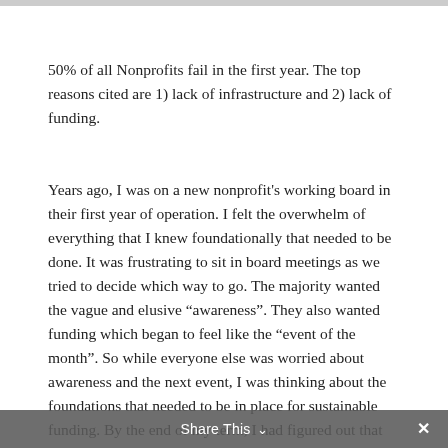50% of all Nonprofits fail in the first year. The top reasons cited are 1) lack of infrastructure and 2) lack of funding.
Years ago, I was on a new nonprofit's working board in their first year of operation. I felt the overwhelm of everything that I knew foundationally that needed to be done. It was frustrating to sit in board meetings as we tried to decide which way to go. The majority wanted the vague and elusive “awareness”. They also wanted funding which began to feel like the “event of the month”. So while everyone else was worried about awareness and the next event, I was thinking about the foundations that needed to be in place for sustainable funding. By the end of my term, I had figured out that not everyone was on the same page for the mission –
Share This ∨  ✕